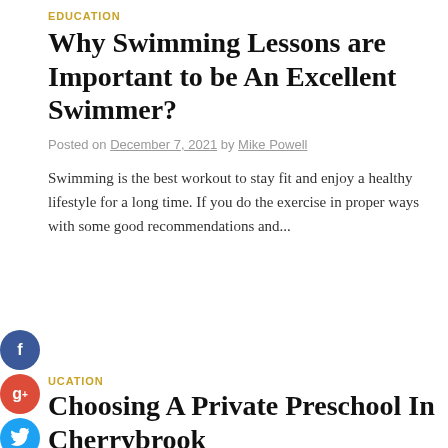EDUCATION
Why Swimming Lessons are Important to be An Excellent Swimmer?
Posted on December 7, 2021 by Mike Powell
Swimming is the best workout to stay fit and enjoy a healthy lifestyle for a long time. If you do the exercise in proper ways with some good recommendations and...
EDUCATION
Choosing A Private Preschool In Cherrybrook
Posted on November 30, 2021 by Mike Powell